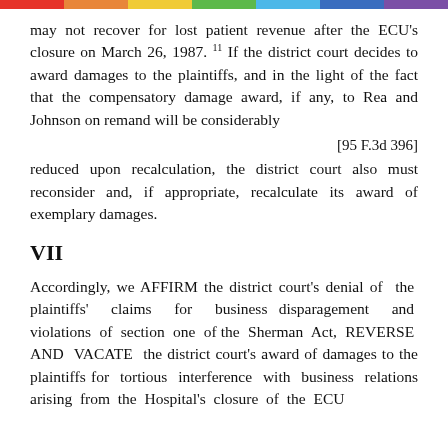may not recover for lost patient revenue after the ECU's closure on March 26, 1987. 11 If the district court decides to award damages to the plaintiffs, and in the light of the fact that the compensatory damage award, if any, to Rea and Johnson on remand will be considerably
[95 F.3d 396]
reduced upon recalculation, the district court also must reconsider and, if appropriate, recalculate its award of exemplary damages.
VII
Accordingly, we AFFIRM the district court's denial of the plaintiffs' claims for business disparagement and violations of section one of the Sherman Act, REVERSE AND VACATE the district court's award of damages to the plaintiffs for tortious interference with business relations arising from the Hospital's closure of the ECU